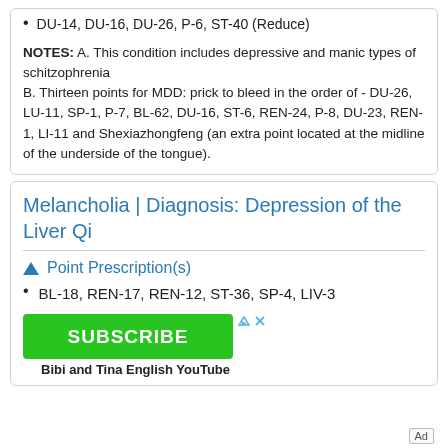DU-14, DU-16, DU-26, P-6, ST-40 (Reduce)
NOTES: A. This condition includes depressive and manic types of schitzophrenia
B. Thirteen points for MDD: prick to bleed in the order of - DU-26, LU-11, SP-1, P-7, BL-62, DU-16, ST-6, REN-24, P-8, DU-23, REN-1, LI-11 and Shexiazhongfeng (an extra point located at the midline of the underside of the tongue).
Melancholia | Diagnosis: Depression of the Liver Qi
Point Prescription(s)
BL-18, REN-17, REN-12, ST-36, SP-4, LIV-3
[Figure (screenshot): Green SUBSCRIBE button advertisement with 'Bibi and Tina English YouTube' label and Ad marker]
Bibi and Tina English YouTube
Ad